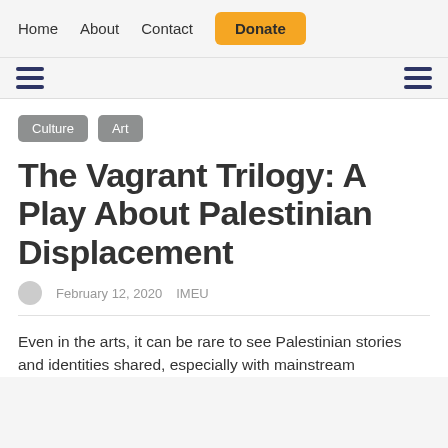Home  About  Contact  Donate
The Vagrant Trilogy: A Play About Palestinian Displacement
February 12, 2020  IMEU
Even in the arts, it can be rare to see Palestinian stories and identities shared, especially with mainstream